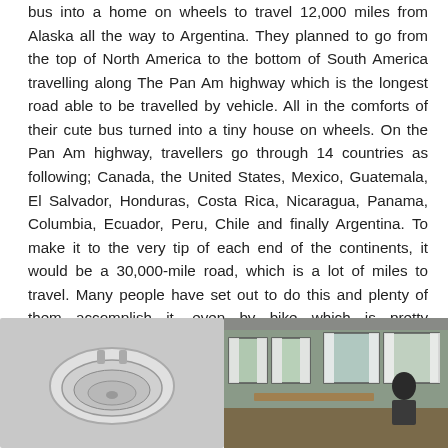bus into a home on wheels to travel 12,000 miles from Alaska all the way to Argentina. They planned to go from the top of North America to the bottom of South America travelling along The Pan Am highway which is the longest road able to be travelled by vehicle. All in the comforts of their cute bus turned into a tiny house on wheels. On the Pan Am highway, travellers go through 14 countries as following; Canada, the United States, Mexico, Guatemala, El Salvador, Honduras, Costa Rica, Nicaragua, Panama, Columbia, Ecuador, Peru, Chile and finally Argentina. To make it to the very tip of each end of the continents, it would be a 30,000-mile road, which is a lot of miles to travel. Many people have set out to do this and plenty of them accomplish it, even by bike which is pretty impressive. Although it could still cost quite a lot of money if you had to pay for hotels throughout the journey. That's why this couple decided to buy an older school bus and transform it into a beautiful home for themselves.
[Figure (photo): Left photo: close-up of a white oval sink or basin viewed from above, set into a light gray surface]
[Figure (photo): Right photo: interior of a converted school bus showing windows with white curtains and a person seated at the far end, with wooden surfaces visible]